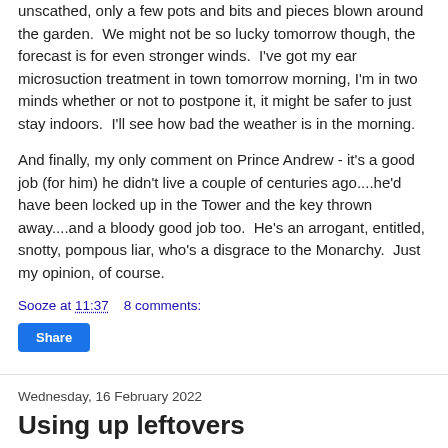unscathed, only a few pots and bits and pieces blown around the garden.  We might not be so lucky tomorrow though, the forecast is for even stronger winds.  I've got my ear microsuction treatment in town tomorrow morning, I'm in two minds whether or not to postpone it, it might be safer to just stay indoors.  I'll see how bad the weather is in the morning.
And finally, my only comment on Prince Andrew - it's a good job (for him) he didn't live a couple of centuries ago....he'd have been locked up in the Tower and the key thrown away....and a bloody good job too.  He's an arrogant, entitled, snotty, pompous liar, who's a disgrace to the Monarchy.  Just my opinion, of course.
Sooze at 11:37    8 comments:
Share
Wednesday, 16 February 2022
Using up leftovers